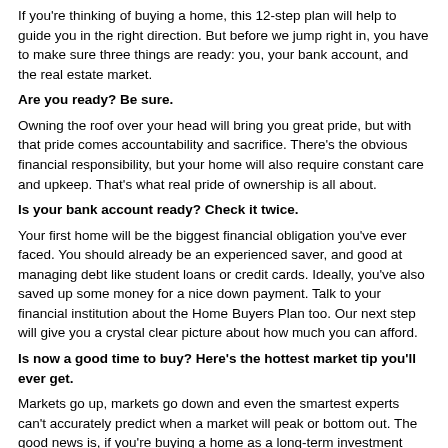If you're thinking of buying a home, this 12-step plan will help to guide you in the right direction. But before we jump right in, you have to make sure three things are ready: you, your bank account, and the real estate market.
Are you ready? Be sure.
Owning the roof over your head will bring you great pride, but with that pride comes accountability and sacrifice. There's the obvious financial responsibility, but your home will also require constant care and upkeep. That's what real pride of ownership is all about.
Is your bank account ready? Check it twice.
Your first home will be the biggest financial obligation you've ever faced. You should already be an experienced saver, and good at managing debt like student loans or credit cards. Ideally, you've also saved up some money for a nice down payment. Talk to your financial institution about the Home Buyers Plan too. Our next step will give you a crystal clear picture about how much you can afford.
Is now a good time to buy? Here's the hottest market tip you'll ever get.
Markets go up, markets go down and even the smartest experts can't accurately predict when a market will peak or bottom out. The good news is, if you're buying a home as a long-term investment (and for long-term enjoyment), you're protected from short-term changes in the market. Over time, real estate has almost always increased in value.
All you have to do is pick a home that meets the needs of you and your family. Then you'll enjoy living in your investment as it grows in value. A